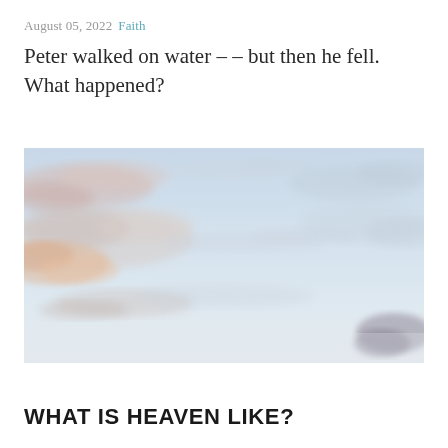August 05, 2022   Faith
Peter walked on water – – but then he fell. What happened?
[Figure (photo): A soft pastel sky photograph showing pale blue sky with scattered pink and orange-tinted clouds, giving a peaceful, heavenly atmosphere.]
WHAT IS HEAVEN LIKE?